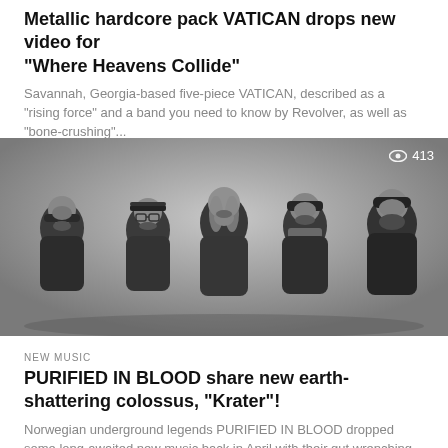Metallic hardcore pack VATICAN drops new video for “Where Heavens Collide”
Savannah, Georgia-based five-piece VATICAN, described as a “rising force” and a band you need to know by Revolver, as well as “bone-crushing”...
[Figure (photo): Black and white group photo of five men standing together against a grey background. One wears glasses and a flat cap, others wear beanies and dark jackets. View count overlay showing 413 in top right corner.]
NEW MUSIC
PURIFIED IN BLOOD share new earth-shattering colossus, “Krater”!
Norwegian underground legends PURIFIED IN BLOOD dropped some long-awaited new music back in April with their gut wrenching and explosive track MYRÅ....